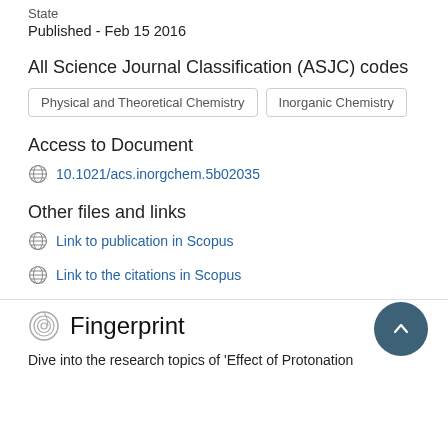State
Published - Feb 15 2016
All Science Journal Classification (ASJC) codes
Physical and Theoretical Chemistry | Inorganic Chemistry
Access to Document
10.1021/acs.inorgchem.5b02035
Other files and links
Link to publication in Scopus
Link to the citations in Scopus
Fingerprint
Dive into the research topics of 'Effect of Protonation